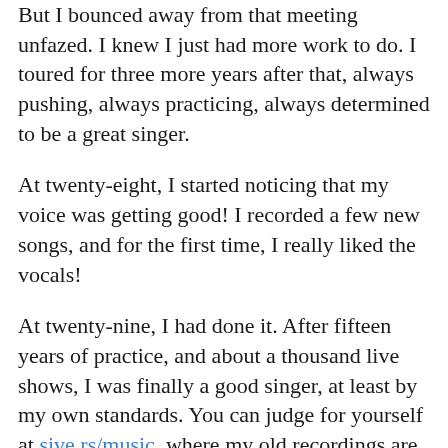But I bounced away from that meeting unfazed. I knew I just had more work to do. I toured for three more years after that, always pushing, always practicing, always determined to be a great singer.
At twenty-eight, I started noticing that my voice was getting good! I recorded a few new songs, and for the first time, I really liked the vocals!
At twenty-nine, I had done it. After fifteen years of practice, and about a thousand live shows, I was finally a good singer, at least by my own standards. You can judge for yourself at sive.rs/music, where my old recordings are at the bottom, and new recordings are at the top.
Someone asked me, for the first time, aside...